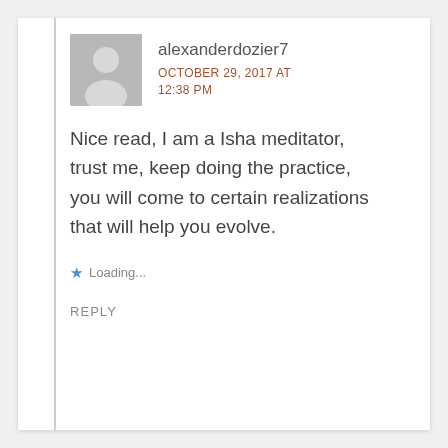alexanderdozier7
OCTOBER 29, 2017 AT 12:38 PM
Nice read, I am a Isha meditator, trust me, keep doing the practice, you will come to certain realizations that will help you evolve.
Loading...
REPLY